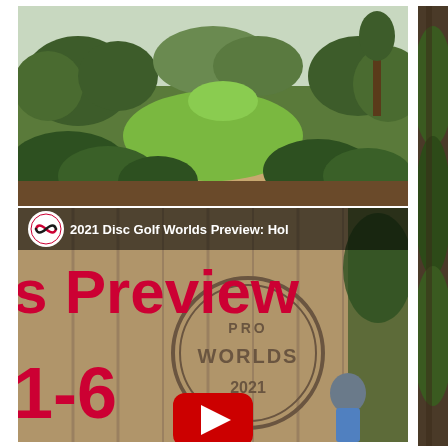[Figure (photo): Aerial view of a disc golf course with green fairway, sandy paths, trees and bushes surrounding the hole, sunny day]
[Figure (screenshot): YouTube video thumbnail for '2021 Disc Golf Worlds Preview: Hol' showing a wooden sign reading PRO WORLDS 2021 with a person standing next to it, overlaid with large red text reading 's Preview' and '1-6', a circular logo icon top-left, and a YouTube play button at the bottom center]